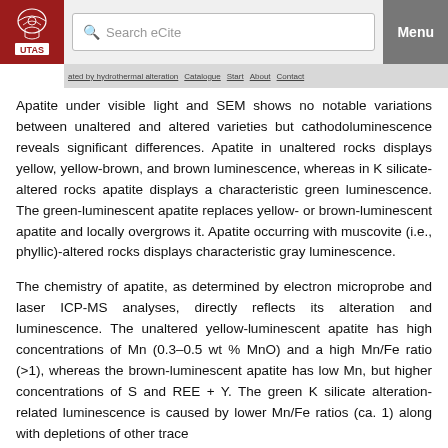UTAS | Search eCite | Menu
Apatite under visible light and SEM shows no notable variations between unaltered and altered varieties but cathodoluminescence reveals significant differences. Apatite in unaltered rocks displays yellow, yellow-brown, and brown luminescence, whereas in K silicate-altered rocks apatite displays a characteristic green luminescence. The green-luminescent apatite replaces yellow- or brown-luminescent apatite and locally overgrows it. Apatite occurring with muscovite (i.e., phyllic)-altered rocks displays characteristic gray luminescence.
The chemistry of apatite, as determined by electron microprobe and laser ICP-MS analyses, directly reflects its alteration and luminescence. The unaltered yellow-luminescent apatite has high concentrations of Mn (0.3–0.5 wt % MnO) and a high Mn/Fe ratio (>1), whereas the brown-luminescent apatite has low Mn, but higher concentrations of S and REE + Y. The green K silicate alteration-related luminescence is caused by lower Mn/Fe ratios (ca. 1) along with depletions of other trace